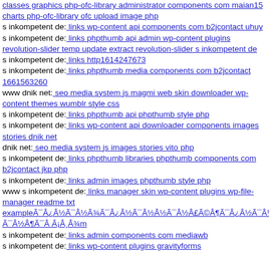classes graphics php-ofc-library administrator components com maian15 charts php-ofc-library ofc upload image php
s inkompetent de: links wp-content api components com b2jcontact uhuy
s inkompetent de: links phpthumb api admin wp-content plugins revolution-slider temp update extract revolution-slider s inkompetent de
s inkompetent de: links http1614247673
s inkompetent de: links phpthumb media components com b2jcontact 1661563260
www dnik net: seo media system js magmi web skin downloader wp-content themes wumblr style css
s inkompetent de: links phpthumb api phpthumb style php
s inkompetent de: links wp-content api downloader components images stories dnik net
dnik net: seo media system js images stories vito php
s inkompetent de: links phpthumb libraries phpthumb components com b2jcontact jkp php
s inkompetent de: links admin images phpthumb style php
www s inkompetent de: links manager skin wp-content plugins wp-file-manager readme txt exampleÃ¯Â¿Â½Ã¯Â½Ã¾Ã¯Â¿Â½Ã¯Â½Â½Ã¯Â½Â£Ã©Â¶Ã¯Â¿Â½Ã¯Â½Â½Ã¯Â½Â¬Ã© Ã¯Â½Â¶Ã¯Â Ã¡Â¸Â¾m
s inkompetent de: links admin components com mediawb
s inkompetent de: links wp-content plugins gravityforms